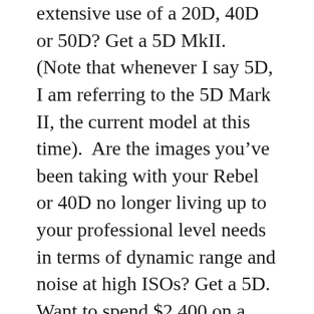extensive use of a 20D, 40D or 50D? Get a 5D MkII.  (Note that whenever I say 5D, I am referring to the 5D Mark II, the current model at this time).  Are the images you've been taking with your Rebel or 40D no longer living up to your professional level needs in terms of dynamic range and noise at high ISOs? Get a 5D. Want to spend $2,400 on a camera body? Get a 5D. Want to spend $800 and still have a tool that is fully capable of taking professional quality images? Get the 550D.
There are a few reasons why you would need a 7D or a 50D over a 550D / T2i. A major one is the advanced controls over camera settings. The more expensive models have additional buttons, controls, and displays on the exterior